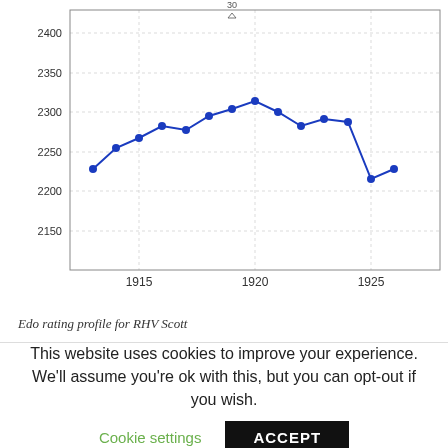[Figure (line-chart): ]
Edo rating profile for RHV Scott
This website uses cookies to improve your experience. We'll assume you're ok with this, but you can opt-out if you wish.